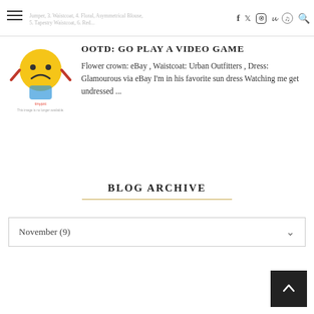Jumper, 3. Waistcoat, 4. Floral, Asymmetrical Blouse, 5. Tapestry Waistcoat, 6. Red... [social icons]
[Figure (illustration): TinyPic placeholder image showing a sad yellow smiley face with arms, cartoon style, with TinyPic branding below]
OOTD: GO PLAY A VIDEO GAME
Flower crown: eBay , Waistcoat: Urban Outfitters , Dress: Glamourous via eBay I'm in his favorite sun dress Watching me get undressed ...
BLOG ARCHIVE
November (9)